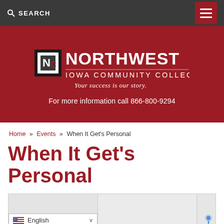SEARCH
[Figure (logo): Northwest Iowa Community College logo with tagline 'Your success is our story.']
For more information call 866-800-9294
Home » Events » When It Get's Personal
When It Get's Personal
[Figure (map): Partial map view with English language selector overlay]